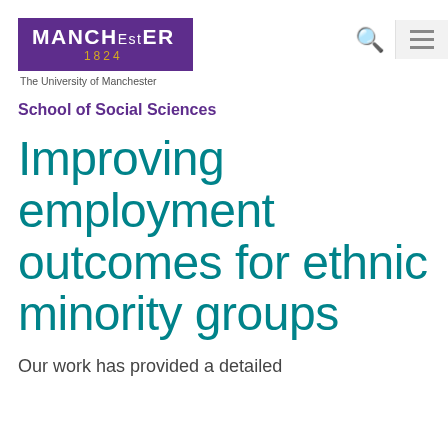[Figure (logo): University of Manchester logo with purple background, MANCHESTER 1824 text, and 'The University of Manchester' subtitle]
School of Social Sciences
Improving employment outcomes for ethnic minority groups
Our work has provided a detailed